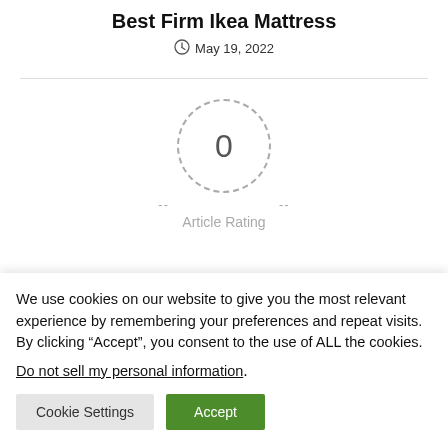Best Firm Ikea Mattress
May 19, 2022
[Figure (infographic): Article rating widget showing a dashed circle with '0' inside and '-- --' on either side, labeled 'Article Rating']
We use cookies on our website to give you the most relevant experience by remembering your preferences and repeat visits. By clicking “Accept”, you consent to the use of ALL the cookies.
Do not sell my personal information.
Cookie Settings
Accept